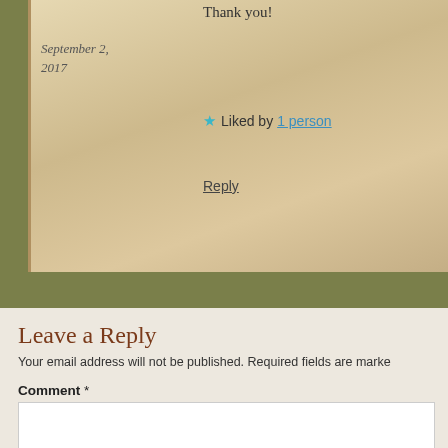Thank you!
September 2, 2017
★ Liked by 1 person
Reply
Leave a Reply
Your email address will not be published. Required fields are marked
Comment *
Name
Email